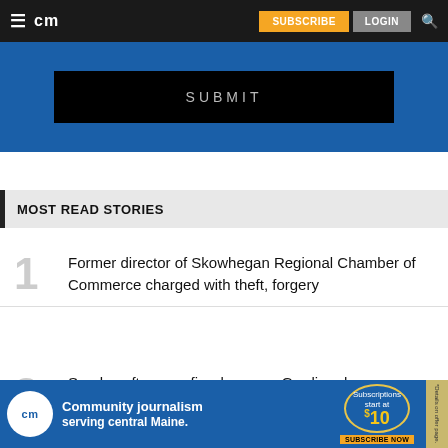cm | SUBSCRIBE | LOGIN
[Figure (screenshot): Blue website submit area with black SUBMIT button]
MOST READ STORIES
1 Former director of Skowhegan Regional Chamber of Commerce charged with theft, forgery
2 Sunday afternoon fire damages Gardiner house
[Figure (infographic): cm Community journalism serving central Maine. Subscriptions start at $10. SUBSCRIBE NOW advertisement banner]